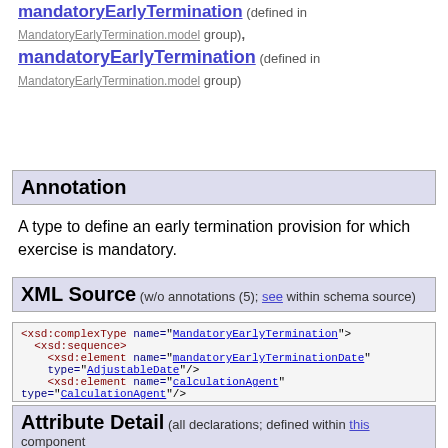mandatoryEarlyTermination (defined in MandatoryEarlyTermination.model group), mandatoryEarlyTermination (defined in MandatoryEarlyTermination.model group)
Annotation
A type to define an early termination provision for which exercise is mandatory.
XML Source (w/o annotations (5); see within schema source)
[Figure (screenshot): XML source code block showing xsd:complexType definition for MandatoryEarlyTermination with xsd:sequence containing xsd:element entries for mandatoryEarlyTerminationDate, calculationAgent, cashSettlement, mandatoryEarlyTerminationAdjustedDates, and xsd:attribute for id of type xsd:ID]
Attribute Detail (all declarations; defined within this component